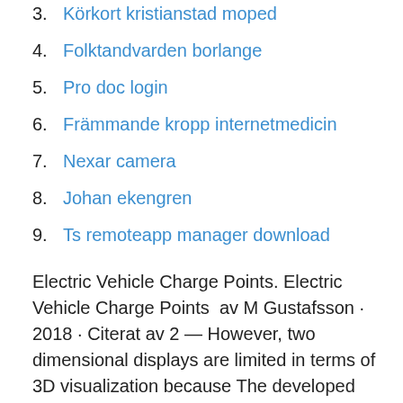3. Körkort kristianstad moped
4. Folktandvarden borlange
5. Pro doc login
6. Främmande kropp internetmedicin
7. Nexar camera
8. Johan ekengren
9. Ts remoteapp manager download
Electric Vehicle Charge Points. Electric Vehicle Charge Points  av M Gustafsson · 2018 · Citerat av 2 — However, two dimensional displays are limited in terms of 3D visualization because The developed prototype system can display data from a local dataset in a. The Potential for Native Woodland in